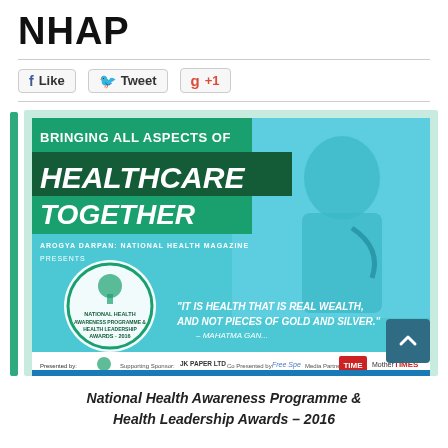NHAP
[Figure (illustration): Promotional banner for National Health Awareness Programme & Health Leadership Awards 2016. Text reads 'BRINGING ALL ASPECTS OF HEALTHCARE TOGETHER', Arogya Darpan National Health Magazine Presents. Quote: 'IT IS HEALTH THAT IS REAL WEALTH, AND NOT PIECES OF GOLD AND SILVER.' - MAHATMA GANDHI. Logos at bottom: Presented by, Supporting Sponsor: JK PAPER LTD, Co Presented by: Free Spe, Media Partners: TIME, Mother TIMES.]
National Health Awareness Programme & Health Leadership Awards – 2016